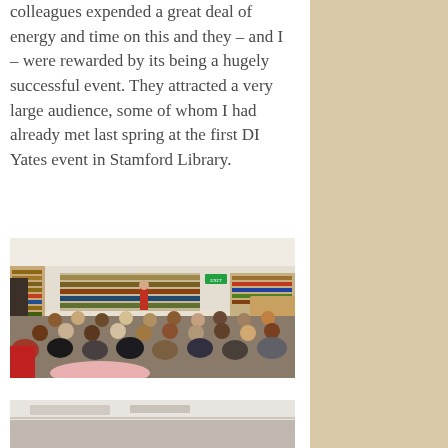colleagues expended a great deal of energy and time on this and they – and I – were rewarded by its being a hugely successful event. They attracted a very large audience, some of whom I had already met last spring at the first DI Yates event in Stamford Library.
[Figure (photo): A large audience seated in a library, facing a speaker standing near bookshelves. The room is full of people seated on chairs.]
[Figure (photo): Partial view of what appears to be a table or surface in a library setting, cropped at bottom of page.]